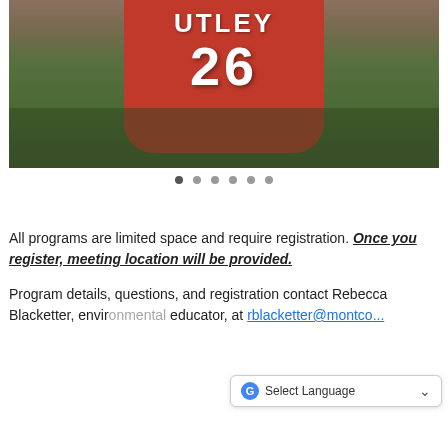[Figure (photo): Photo of a small child or pet wearing a red Phillies jersey with 'UTLEY 26' on the back, viewed from above, surrounded by leaves and dirt ground.]
All programs are limited space and require registration. Once you register, meeting location will be provided.
Program details, questions, and registration contact Rebecca Blacketter, environmental educator, at rblacketter@montco...